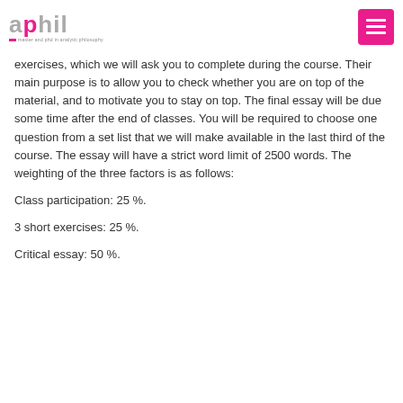aphil - master and phd in analytic philosophy
exercises, which we will ask you to complete during the course. Their main purpose is to allow you to check whether you are on top of the material, and to motivate you to stay on top. The final essay will be due some time after the end of classes. You will be required to choose one question from a set list that we will make available in the last third of the course. The essay will have a strict word limit of 2500 words. The weighting of the three factors is as follows:
Class participation: 25 %.
3 short exercises: 25 %.
Critical essay: 50 %.